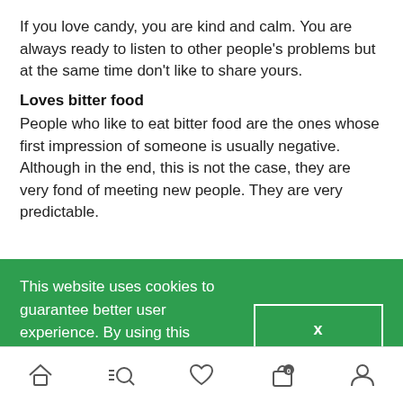If you love candy, you are kind and calm. You are always ready to listen to other people's problems but at the same time don't like to share yours.
Loves bitter food
People who like to eat bitter food are the ones whose first impression of someone is usually negative. Although in the end, this is not the case, they are very fond of meeting new people. They are very predictable.
This website uses cookies to guarantee better user experience. By using this website you agree with use of cookies on our website.
[Figure (other): Bottom navigation bar with icons: home, search, heart/favorites, shopping bag with 0 badge, user profile]